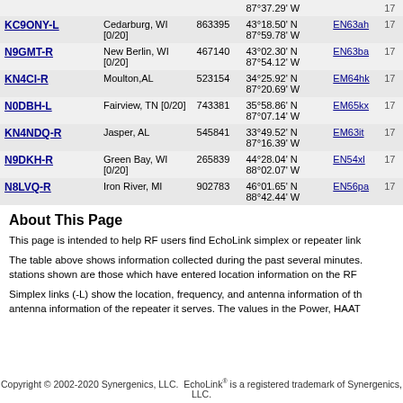| Callsign | Location | Node | Coordinates | Grid | Freq |
| --- | --- | --- | --- | --- | --- |
| KC9ONY-L | Cedarburg, WI [0/20] | 863395 | 43°18.50' N 87°59.78' W | EN63ah | 17 |
| N9GMT-R | New Berlin, WI [0/20] | 467140 | 43°02.30' N 87°54.12' W | EN63ba | 17 |
| KN4CI-R | Moulton,AL | 523154 | 34°25.92' N 87°20.69' W | EM64hk | 17 |
| N0DBH-L | Fairview, TN [0/20] | 743381 | 35°58.86' N 87°07.14' W | EM65kx | 17 |
| KN4NDQ-R | Jasper, AL | 545841 | 33°49.52' N 87°16.39' W | EM63it | 17 |
| N9DKH-R | Green Bay, WI [0/20] | 265839 | 44°28.04' N 88°02.07' W | EN54xl | 17 |
| N8LVQ-R | Iron River, MI | 902783 | 46°01.65' N 88°42.44' W | EN56pa | 17 |
About This Page
This page is intended to help RF users find EchoLink simplex or repeater link
The table above shows information collected during the past several minutes. stations shown are those which have entered location information on the RF
Simplex links (-L) show the location, frequency, and antenna information of th antenna information of the repeater it serves. The values in the Power, HAAT
Copyright © 2002-2020 Synergenics, LLC. EchoLink® is a registered trademark of Synergenics, LLC.